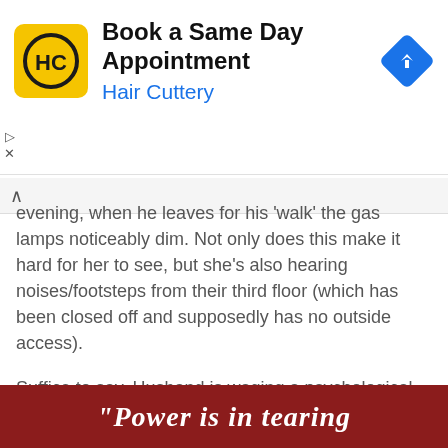[Figure (other): Hair Cuttery advertisement banner with HC logo and navigation arrow icon. Title: 'Book a Same Day Appointment', subtitle: 'Hair Cuttery']
evening, when he leaves for his 'walk' the gas lamps noticeably dim. Not only does this make it hard for her to see, but she's also hearing noises/footsteps from their third floor (which has been closed off and supposedly has no outside access).
Suffice to say, Husband is waging a psychological warfare campaign to persuade his wife (and witnesses) that she's losing her mind and, thus, needs to be sent away for professional care.
Gaslighting by Degrees
[Figure (other): Red/dark-red background image with white bold italic text beginning with a large opening quotation mark, partially visible text 'Power is in tearing']